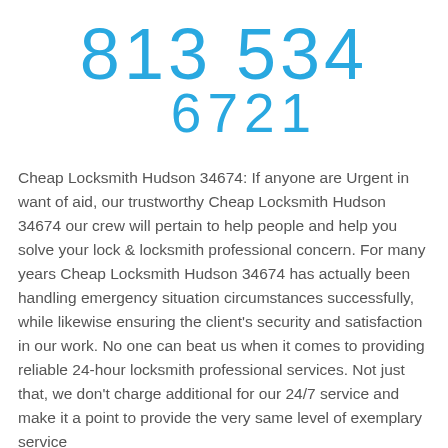813 534 6721
Cheap Locksmith Hudson 34674: If anyone are Urgent in want of aid, our trustworthy Cheap Locksmith Hudson 34674 our crew will pertain to help people and help you solve your lock & locksmith professional concern. For many years Cheap Locksmith Hudson 34674 has actually been handling emergency situation circumstances successfully, while likewise ensuring the client's security and satisfaction in our work. No one can beat us when it comes to providing reliable 24-hour locksmith professional services. Not just that, we don't charge additional for our 24/7 service and make it a point to provide the very same level of exemplary service